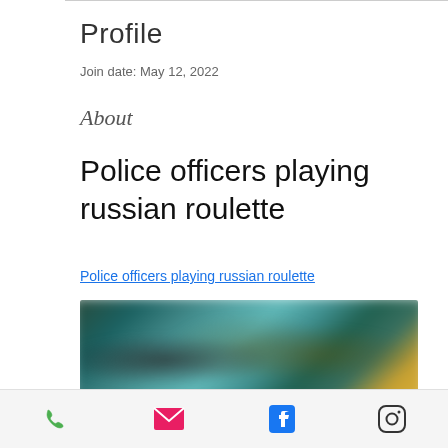Profile
Join date: May 12, 2022
About
Police officers playing russian roulette
Police officers playing russian roulette
[Figure (photo): Blurred thumbnail image showing people, likely a video thumbnail related to 'Police officers playing russian roulette']
Phone | Email | Facebook | Instagram icons